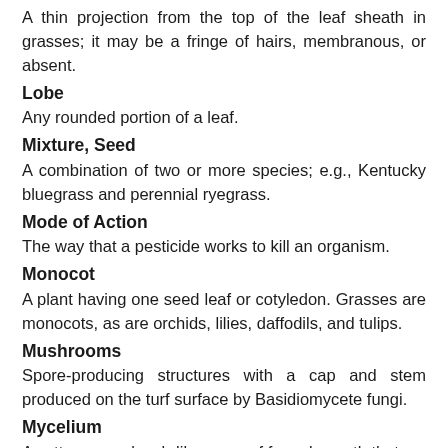A thin projection from the top of the leaf sheath in grasses; it may be a fringe of hairs, membranous, or absent.
Lobe
Any rounded portion of a leaf.
Mixture, Seed
A combination of two or more species; e.g., Kentucky bluegrass and perennial ryegrass.
Mode of Action
The way that a pesticide works to kill an organism.
Monocot
A plant having one seed leaf or cotyledon. Grasses are monocots, as are orchids, lilies, daffodils, and tulips.
Mushrooms
Spore-producing structures with a cap and stem produced on the turf surface by Basidiomycete fungi.
Mycelium
A cottony or cobweb-like mass of fungal growth that